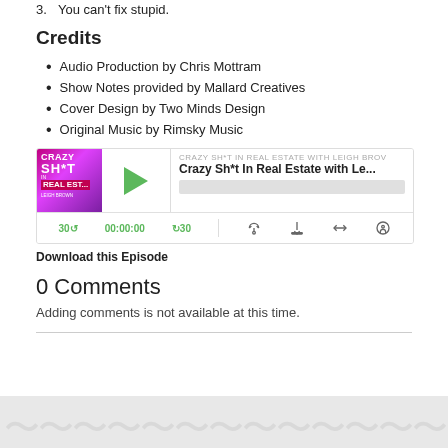3. You can't fix stupid.
Credits
Audio Production by Chris Mottram
Show Notes provided by Mallard Creatives
Cover Design by Two Minds Design
Original Music by Rimsky Music
[Figure (screenshot): Podcast audio player for 'Crazy Sh*t In Real Estate with Le...' showing play button, progress bar, and playback controls including 30-second skip, timestamp 00:00:00, and icons for RSS, download, embed, and share.]
Download this Episode
0 Comments
Adding comments is not available at this time.